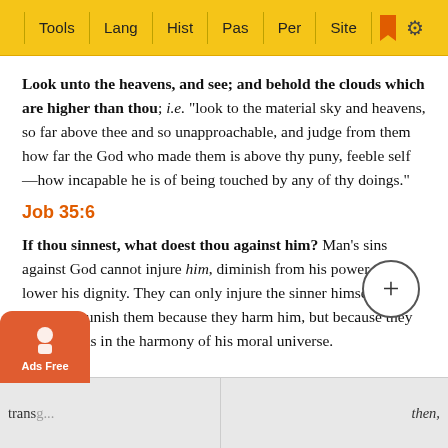Tools | Lang | Hist | Pas | Per | Site
Look unto the heavens, and see; and behold the clouds which are higher than thou; i.e. "look to the material sky and heavens, so far above thee and so unapproachable, and judge from them how far the God who made them is above thy puny, feeble self—how incapable he is of being touched by any of thy doings."
Job 35:6
If thou sinnest, what doest thou against him? Man's sins against God cannot injure him, diminish from his power, or lower his dignity. They can only injure the sinner himself. God does not punish them because they harm him, but because they are discords in the harmony of his moral universe.
if thy transgressions be multiplied; i.e. if thou persistest in a long course of sin, and addest "rebellion" to transgressions...
"mult... then,
what